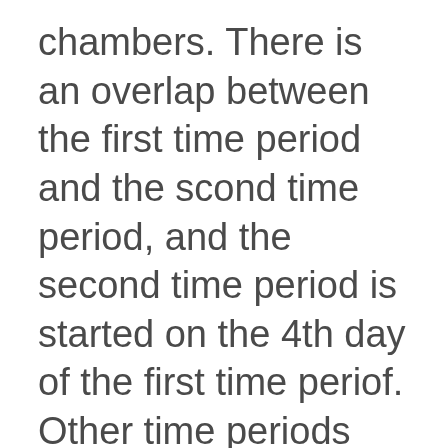chambers. There is an overlap between the first time period and the scond time period, and the second time period is started on the 4th day of the first time periof. Other time periods are also arranged like this. Therefore, the sample and data collection period totaled 29 days. Feces